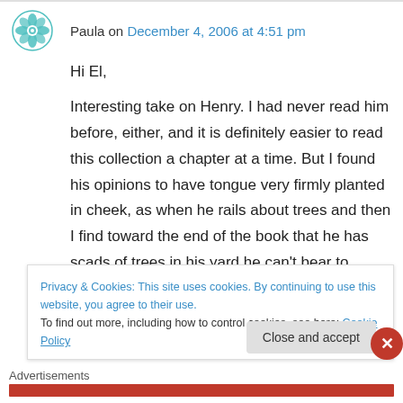Paula on December 4, 2006 at 4:51 pm
Hi El,
Interesting take on Henry. I had never read him before, either, and it is definitely easier to read this collection a chapter at a time. But I found his opinions to have tongue very firmly planted in cheek, as when he rails about trees and then I find toward the end of the book that he has scads of trees in his yard he can't bear to
Privacy & Cookies: This site uses cookies. By continuing to use this website, you agree to their use.
To find out more, including how to control cookies, see here: Cookie Policy
Close and accept
Advertisements